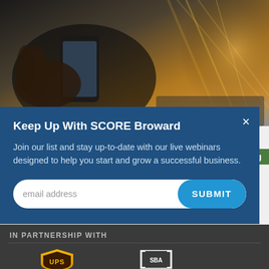[Figure (photo): Person holding a smartphone with bokeh background of lights and laptop]
Get Found Online with These 3 SEO Tactics
Blog
Keep Up With SCORE Broward
Join our list and stay up-to-date with our live webinars designed to help you start and grow a successful business.
email address SUBMIT
IN PARTNERSHIP WITH
[Figure (logo): UPS logo (partial, yellow and brown shield)]
[Figure (logo): SBA or partner logo (partial, white bracket-style icon)]